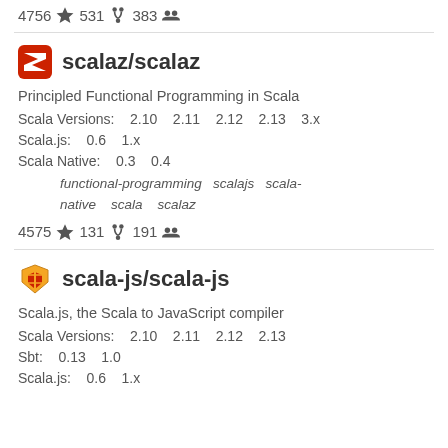4756 ★ 531 ⑂ 383 👥
scalaz/scalaz
Principled Functional Programming in Scala
Scala Versions: 2.10 2.11 2.12 2.13 3.x
Scala.js: 0.6 1.x
Scala Native: 0.3 0.4
functional-programming  scalajs  scala-native  scala  scalaz
4575 ★ 131 ⑂ 191 👥
scala-js/scala-js
Scala.js, the Scala to JavaScript compiler
Scala Versions: 2.10 2.11 2.12 2.13
Sbt: 0.13 1.0
Scala.js: 0.6 1.x